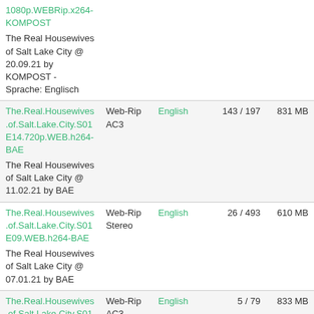| Title | Audio | Language | Seeds/Leeches | Size |
| --- | --- | --- | --- | --- |
| 1080p.WEBRip.x264-KOMPOST
The Real Housewives of Salt Lake City @ 20.09.21 by KOMPOST - Sprache: Englisch |  |  |  |  |
| The.Real.Housewives.of.Salt.Lake.City.S01E14.720p.WEB.h264-BAE
The Real Housewives of Salt Lake City @ 11.02.21 by BAE | Web-Rip AC3 | English | 143 / 197 | 831 MB |
| The.Real.Housewives.of.Salt.Lake.City.S01E09.WEB.h264-BAE
The Real Housewives of Salt Lake City @ 07.01.21 by BAE | Web-Rip Stereo | English | 26 / 493 | 610 MB |
| The.Real.Housewives.of.Salt.Lake.City.S01E09.720p.WEB.h...
 | Web-Rip AC3 | English | 5 / 79 | 833 MB |